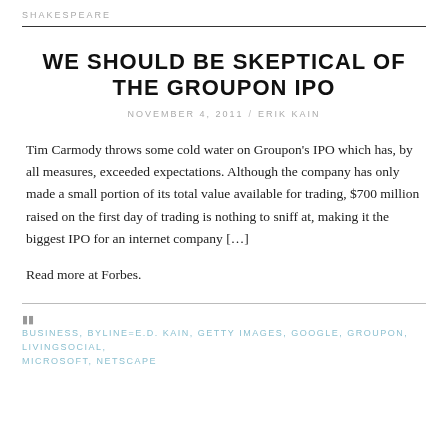SHAKESPEARE
WE SHOULD BE SKEPTICAL OF THE GROUPON IPO
NOVEMBER 4, 2011 / ERIK KAIN
Tim Carmody throws some cold water on Groupon's IPO which has, by all measures, exceeded expectations. Although the company has only made a small portion of its total value available for trading, $700 million raised on the first day of trading is nothing to sniff at, making it the biggest IPO for an internet company […]
Read more at Forbes.
BUSINESS, BYLINE=E.D. KAIN, GETTY IMAGES, GOOGLE, GROUPON, LIVINGSOCIAL, MICROSOFT, NETSCAPE